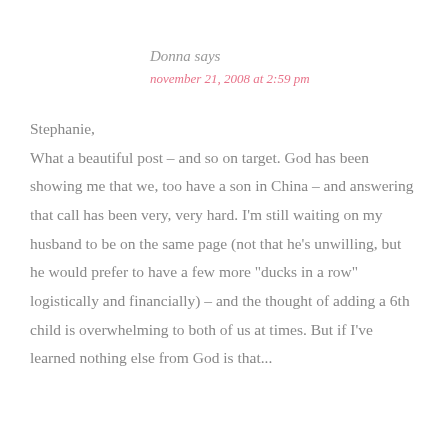Donna says
november 21, 2008 at 2:59 pm
Stephanie,
What a beautiful post – and so on target. God has been showing me that we, too have a son in China – and answering that call has been very, very hard. I'm still waiting on my husband to be on the same page (not that he's unwilling, but he would prefer to have a few more "ducks in a row" logistically and financially) – and the thought of adding a 6th child is overwhelming to both of us at times. But if I've learned nothing else from God is that...